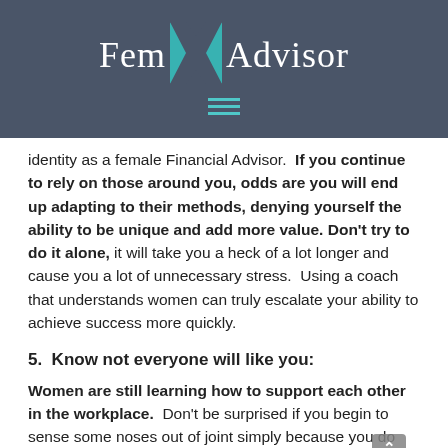Fem X Advisor
identity as a female Financial Advisor.  If you continue to rely on those around you, odds are you will end up adapting to their methods, denying yourself the ability to be unique and add more value. Don't try to do it alone, it will take you a heck of a lot longer and cause you a lot of unnecessary stress.  Using a coach that understands women can truly escalate your ability to achieve success more quickly.
5.  Know not everyone will like you:
Women are still learning how to support each other in the workplace.  Don't be surprised if you begin to sense some noses out of joint simply because you don't have time to chit chat like you used to.  At the same